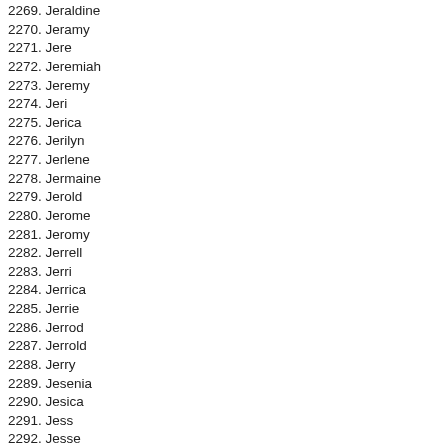2269. Jeraldine
2270. Jeramy
2271. Jere
2272. Jeremiah
2273. Jeremy
2274. Jeri
2275. Jerica
2276. Jerilyn
2277. Jerlene
2278. Jermaine
2279. Jerold
2280. Jerome
2281. Jeromy
2282. Jerrell
2283. Jerri
2284. Jerrica
2285. Jerrie
2286. Jerrod
2287. Jerrold
2288. Jerry
2289. Jesenia
2290. Jesica
2291. Jess
2292. Jesse
2293. Jessenia